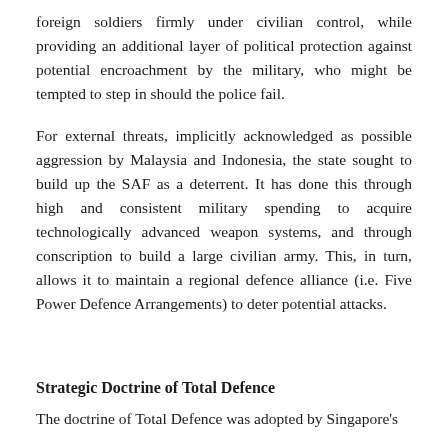foreign soldiers firmly under civilian control, while providing an additional layer of political protection against potential encroachment by the military, who might be tempted to step in should the police fail.
For external threats, implicitly acknowledged as possible aggression by Malaysia and Indonesia, the state sought to build up the SAF as a deterrent. It has done this through high and consistent military spending to acquire technologically advanced weapon systems, and through conscription to build a large civilian army. This, in turn, allows it to maintain a regional defence alliance (i.e. Five Power Defence Arrangements) to deter potential attacks.
Strategic Doctrine of Total Defence
The doctrine of Total Defence was adopted by Singapore's